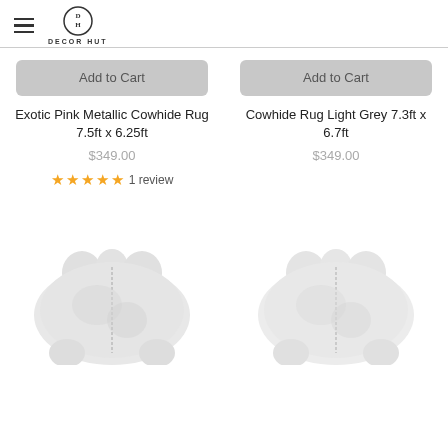DECOR HUT
Add to Cart
Add to Cart
Exotic Pink Metallic Cowhide Rug 7.5ft x 6.25ft
Cowhide Rug Light Grey 7.3ft x 6.7ft
$349.00
$349.00
★★★★★ 1 review
[Figure (photo): White/light grey cowhide rug product photo, left column]
[Figure (photo): White/light grey cowhide rug product photo, right column]